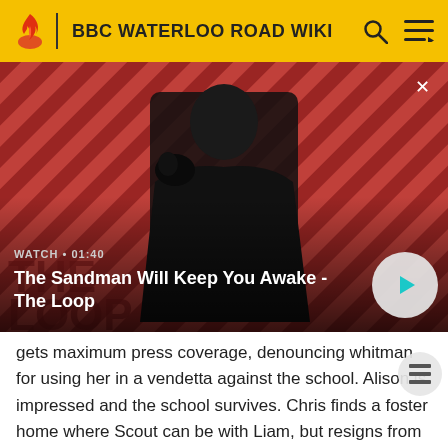BBC WATERLOO ROAD WIKI
[Figure (screenshot): Video thumbnail showing a dark-caped figure with a black bird on shoulder against a red and dark diagonal striped background. Overlay text: 'WATCH • 01:40' and title 'The Sandman Will Keep You Awake - The Loop' with a play button.]
gets maximum press coverage, denouncing whitman for using her in a vendetta against the school. Alison is impressed and the school survives. Chris finds a foster home where Scout can be with Liam, but resigns from the school after realising he gets more involved in pupils' lives than teachers should. Karen and Rob, newly qualifie